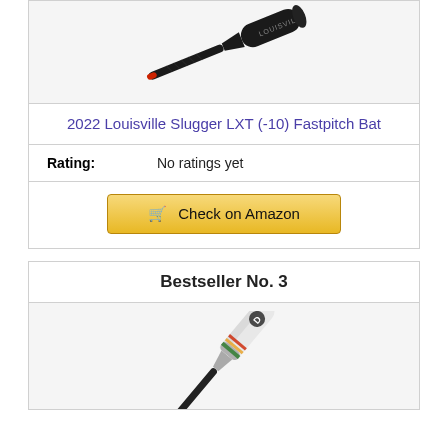[Figure (photo): Black Louisville Slugger LXT (-10) Fastpitch baseball bat shown diagonally]
2022 Louisville Slugger LXT (-10) Fastpitch Bat
Rating: No ratings yet
🛒 Check on Amazon
Bestseller No. 3
[Figure (photo): White and silver DeMarini fastpitch softball bat shown diagonally]